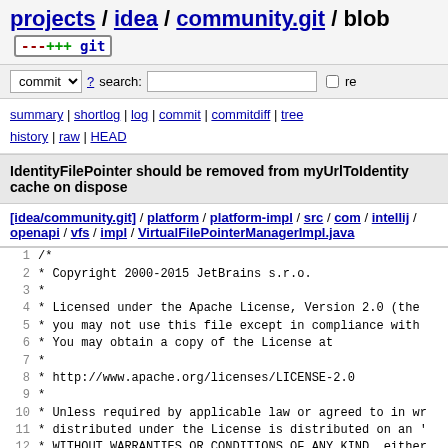projects / idea / community.git / blob [git icon]
commit ? search: [ ] re
summary | shortlog | log | commit | commitdiff | tree history | raw | HEAD
IdentityFilePointer should be removed from myUrlToIdentity cache on dispose
[idea/community.git] / platform / platform-impl / src / com / intellij / openapi / vfs / impl / VirtualFilePointerManagerImpl.java
1  /*
2   * Copyright 2000-2015 JetBrains s.r.o.
3   *
4   * Licensed under the Apache License, Version 2.0 (the
5   * you may not use this file except in compliance with
6   * You may obtain a copy of the License at
7   *
8   *   http://www.apache.org/licenses/LICENSE-2.0
9   *
10  * Unless required by applicable law or agreed to in wr
11  * distributed under the License is distributed on an '
12  * WITHOUT WARRANTIES OR CONDITIONS OF ANY KIND, either
13  * See the License for the specific language governing
14  * limitations under the License.
15  */
16 package com.intellij.openapi.vfs.impl;
17